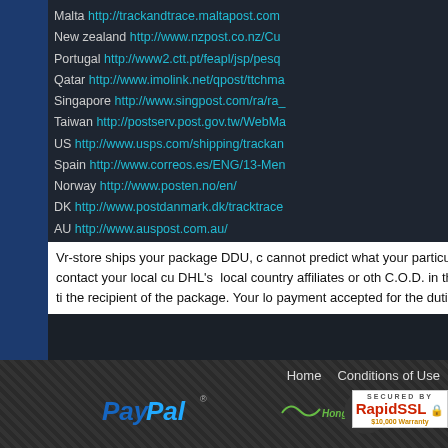Malta http://trackandtrace.maltapost.com
New zealand http://www.nzpost.co.nz/Cu
Portugal http://www2.ctt.pt/feapl/jsp/pesq
Qatar http://www.imolink.net/qpost/ttchma
Singapore http://www.singpost.com/ra/ra_
Taiwan http://postserv.post.gov.tw/WebMa
US http://www.usps.com/shipping/trackan
Spain http://www.correos.es/ENG/13-Men
Norway http://www.posten.no/en/
DK http://www.postdanmark.dk/tracktrace
AU http://www.auspost.com.au/
TR http://www.ptt.gov.tr/en/interaktif/kayit
Vr-store ships your package DDU, cannot predict what your particular policies please contact your local cu DHL's local country affiliates or oth C.O.D. in the local currency at the ti the recipient of the package. Your lo payment accepted for the duties, ta
Home   Conditions of Use
[Figure (logo): PayPal logo with italic bold blue text and registered trademark symbol]
[Figure (logo): Hongkong Post logo in green italic text with wave graphic]
[Figure (logo): TOP button - circular dark button with arrow and TOP text]
[Figure (logo): RapidSSL Secured By badge with $10,000 Warranty text]